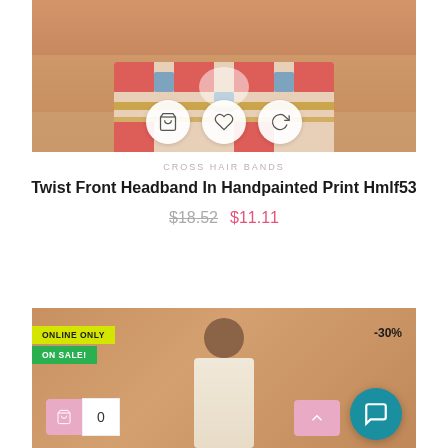[Figure (photo): Product photo showing close-up of a woman wearing a patterned colorful bandeau/tube top with red, blue, gold floral/tile print on a beige/tan background, with shopping cart, heart, and refresh action icon buttons overlaid]
CROSS HAIR BANDS
Twist Front Headband In Handpainted Print Hmlf53
$18.52  $11.11
[Figure (photo): Product photo of a woman with dark hair in a ponytail on a tan/beige background, wearing a cream/ivory halter top. Overlaid badges: ONLINE ONLY (yellow), ON SALE! (green), -30% discount label top right. Bottom shows cart icon button, quantity 0, arrow up button, and chat button.]